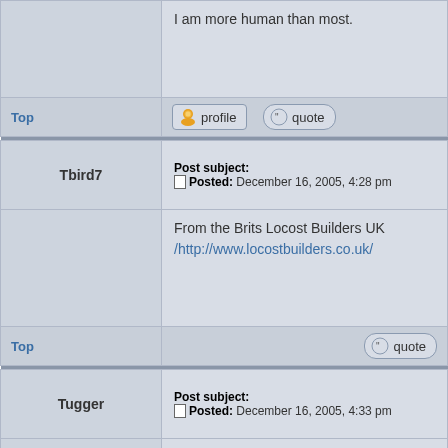I am more human than most.
Top
[Figure (other): profile and quote buttons]
Tbird7 — Post subject: Posted: December 16, 2005, 4:28 pm
From the Brits Locost Builders UK /http://www.locostbuilders.co.uk/
Top
[Figure (other): quote button]
Tugger — Post subject: Posted: December 16, 2005, 4:33 pm
Bathroom wall....thought it was a [NWS PORN] site..j/k Yahoo group
Top
[Figure (other): quote button]
chetcpo — Post subject: Posted: December 16, 2005, 4:59 pm